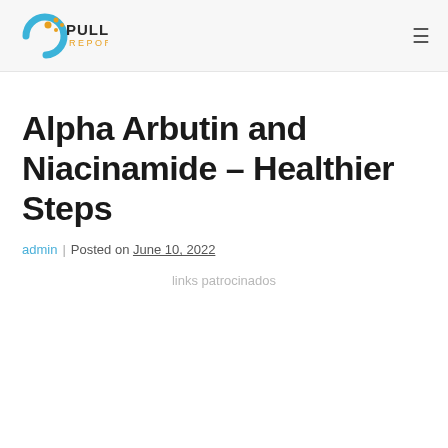Pullins Report
Alpha Arbutin and Niacinamide – Healthier Steps
admin | Posted on June 10, 2022
links patrocinados